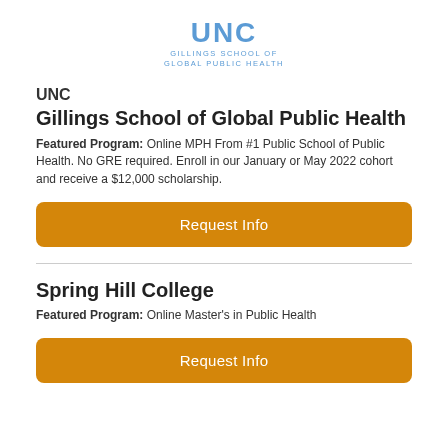[Figure (logo): UNC Gillings School of Global Public Health logo with large 'UNC' text in blue and subtitle 'GILLINGS SCHOOL OF GLOBAL PUBLIC HEALTH' in smaller blue uppercase letters]
UNC
Gillings School of Global Public Health
Featured Program: Online MPH From #1 Public School of Public Health. No GRE required. Enroll in our January or May 2022 cohort and receive a $12,000 scholarship.
Request Info
Spring Hill College
Featured Program: Online Master's in Public Health
Request Info